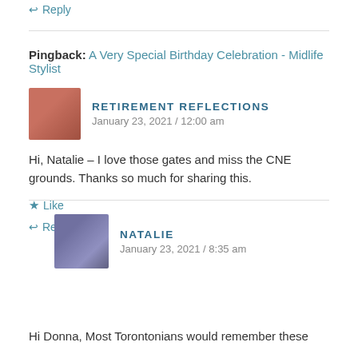↩ Reply
Pingback: A Very Special Birthday Celebration - Midlife Stylist
RETIREMENT REFLECTIONS
January 23, 2021 / 12:00 am
Hi, Natalie – I love those gates and miss the CNE grounds. Thanks so much for sharing this.
★ Like
↩ Reply
NATALIE
January 23, 2021 / 8:35 am
Hi Donna, Most Torontonians would remember these